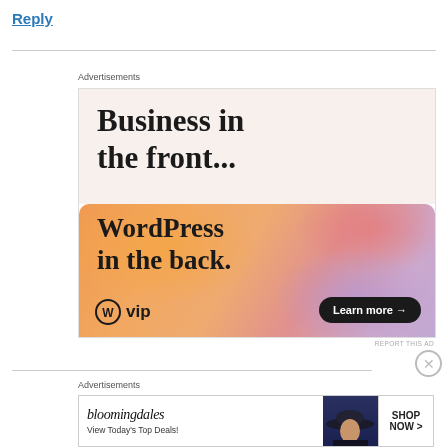Reply
Advertisements
[Figure (screenshot): WordPress VIP advertisement. Top half beige background with text 'Business in the front...'. Bottom half orange gradient background with text 'WordPress in the back.' WordPress VIP logo on bottom left and 'Learn more →' button on bottom right.]
REPORT THIS AD
Advertisements
[Figure (screenshot): Bloomingdale's banner advertisement showing brand name, 'View Today's Top Deals!', a woman in a wide-brim hat, and a 'SHOP NOW >' button.]